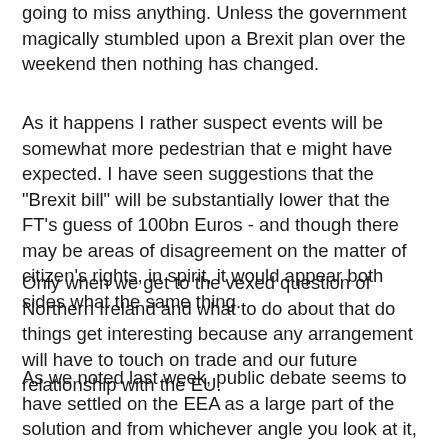going to miss anything. Unless the government magically stumbled upon a Brexit plan over the weekend then nothing has changed.
As it happens I rather suspect events will be somewhat more pedestrian that e might have expected. I have seen suggestions that the "Brexit bill" will be substantially lower that the FT's guess of 100bn Euros - and though there may be areas of disagreement on the matter of citizen's rights, in spirit, it would appear both sides what the same thing.
Only when we get to the vexed question of Northern Ireland and what to do about that do things get interesting because any arrangement will have to touch on trade and our future relationship with the EU.
As we noted last week, public debate seems to have settled on the EEA as a large part of the solution and from whichever angle you look at it, any bespoke agreement is going to have to reinvent the wheel. As many have noted, as we have been saying for some time, the obvious merit of the EEA is that it already exists, the institutions and the treaty frameworks are already in place, and widely understood. It